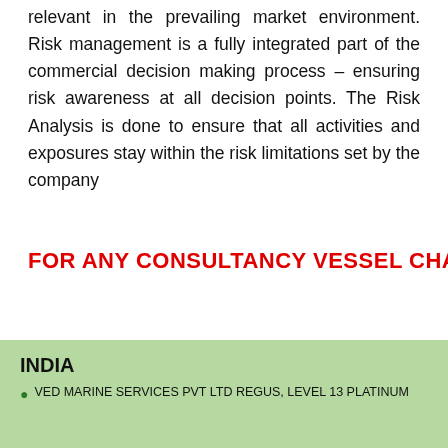relevant in the prevailing market environment. Risk management is a fully integrated part of the commercial decision making process – ensuring risk awareness at all decision points. The Risk Analysis is done to ensure that all activities and exposures stay within the risk limitations set by the company
FOR ANY CONSULTANCY VESSEL CHARTERING
INDIA
VED MARINE SERVICES PVT LTD REGUS, LEVEL 13 PLATINUM